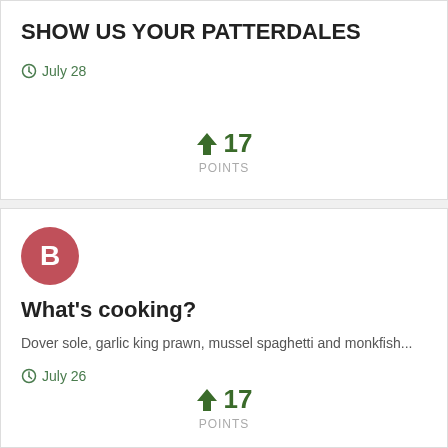SHOW US YOUR PATTERDALES
July 28
17 POINTS
[Figure (illustration): Avatar circle with letter B in pink/red color]
What's cooking?
Dover sole, garlic king prawn, mussel spaghetti and monkfish...
July 26
17 POINTS